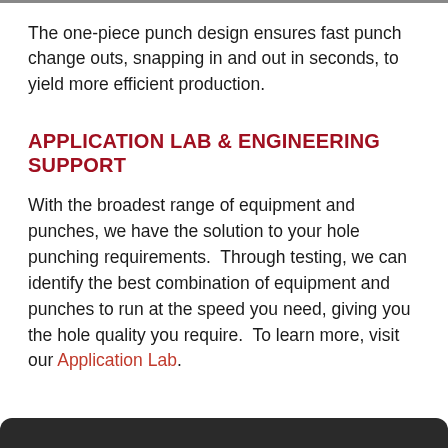The one-piece punch design ensures fast punch change outs, snapping in and out in seconds, to yield more efficient production.
APPLICATION LAB & ENGINEERING SUPPORT
With the broadest range of equipment and punches, we have the solution to your hole punching requirements.  Through testing, we can identify the best combination of equipment and punches to run at the speed you need, giving you the hole quality you require.  To learn more, visit our Application Lab.